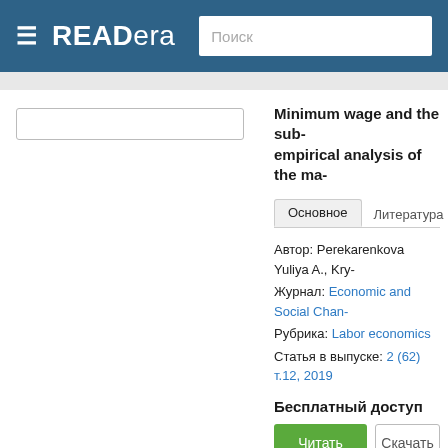READera — Поиск
[Figure (screenshot): Search input box on left panel]
Minimum wage and the sub- empirical analysis of the ma-
Основное   Литература
Автор: Perekarenkova Yuliya A., Kry-
Журнал: Economic and Social Chan-
Рубрика: Labor economics
Статья в выпуске: 2 (62) т.12, 2019
Бесплатный доступ
Читать   Скачать
Аннотация. The paper studies the re- In particular, we analyze the degree o-